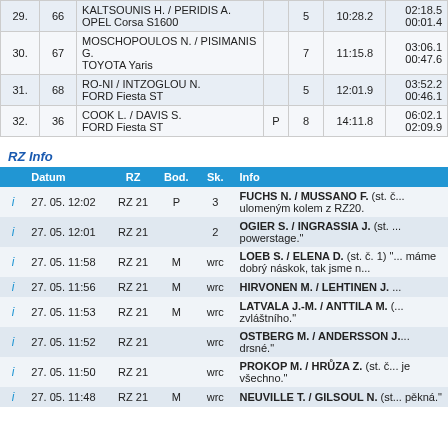|  |  | Name/Car | P | St. | Time | Diff |
| --- | --- | --- | --- | --- | --- | --- |
| 29. | 66 | KALTSOUNIS H. / PERIDIS A.
OPEL Corsa S1600 |  | 5 | 10:28.2 | 02:18.5
00:01.4 |
| 30. | 67 | MOSCHOPOULOS N. / PISIMANIS G.
TOYOTA Yaris |  | 7 | 11:15.8 | 03:06.1
00:47.6 |
| 31. | 68 | RO-NI / INTZOGLOU N.
FORD Fiesta ST |  | 5 | 12:01.9 | 03:52.2
00:46.1 |
| 32. | 36 | COOK L. / DAVIS S.
FORD Fiesta ST | P | 8 | 14:11.8 | 06:02.1
02:09.9 |
RZ Info
|  | Datum | RZ | Bod. | Sk. | Info |
| --- | --- | --- | --- | --- | --- |
| i | 27. 05. 12:02 | RZ 21 | P | 3 | FUCHS N. / MUSSANO F. (st. č... ulomeným kolem z RZ20. |
| i | 27. 05. 12:01 | RZ 21 |  | 2 | OGIER S. / INGRASSIA J. (st. ... powerstage." |
| i | 27. 05. 11:58 | RZ 21 | M | wrc | LOEB S. / ELENA D. (st. č. 1) "... máme dobrý náskok, tak jsme n... |
| i | 27. 05. 11:56 | RZ 21 | M | wrc | HIRVONEN M. / LEHTINEN J. ... |
| i | 27. 05. 11:53 | RZ 21 | M | wrc | LATVALA J.-M. / ANTTILA M. (... zvláštního." |
| i | 27. 05. 11:52 | RZ 21 |  | wrc | OSTBERG M. / ANDERSSON J... drsné." |
| i | 27. 05. 11:50 | RZ 21 |  | wrc | PROKOP M. / HRŮZA Z. (st. č... je všechno." |
| i | 27. 05. 11:48 | RZ 21 | M | wrc | NEUVILLE T. / GILSOUL N. (st... pěkná." |